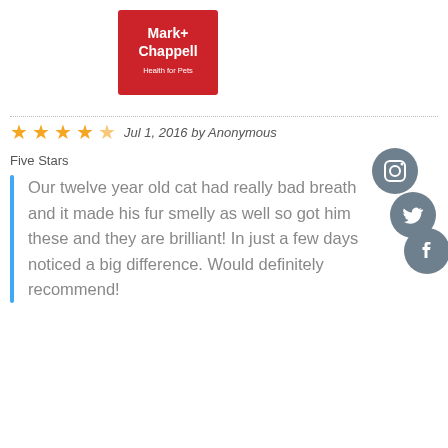[Figure (logo): Mark+ Chappell Health for Pets logo — red background with white text]
★★★★★ Jul 1, 2016 by Anonymous
Five Stars
Our twelve year old cat had really bad breath and it made his fur smelly as well so got him these and they are brilliant! In just a few days noticed a big difference. Would definitely recommend!